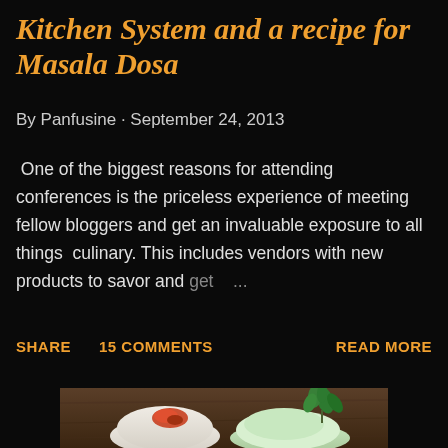Kitchen System and a recipe for Masala Dosa
By Panfusine · September 24, 2013
One of the biggest reasons for attending conferences is the priceless experience of meeting fellow bloggers and get an invaluable exposure to all things culinary. This includes vendors with new products to savor and get ...
SHARE   15 COMMENTS   READ MORE
[Figure (photo): A food photograph showing what appears to be idli or dosa with a red chutney/topping on the left and a white creamy accompaniment topped with fresh green leaves/herbs on the right, on a wooden surface.]